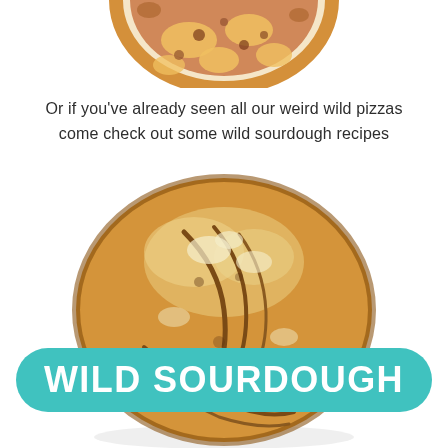[Figure (photo): Partial view of a pizza from above, showing golden-brown crust with cheese and toppings, cropped at the bottom half]
Or if you've already seen all our weird wild pizzas come check out some wild sourdough recipes
[Figure (photo): A round sourdough bread loaf dusted with flour, showing scored pattern on top, golden-brown crust, photographed from above on white background. A teal/turquoise banner reading WILD SOURDOUGH overlays the center of the bread.]
WILD SOURDOUGH